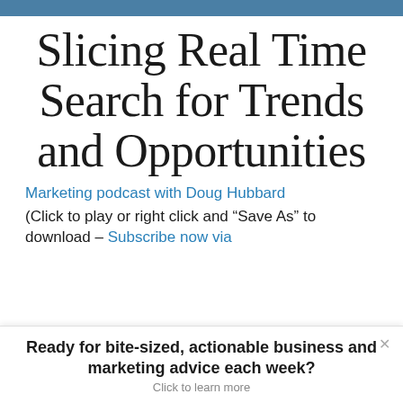Slicing Real Time Search for Trends and Opportunities
Marketing podcast with Doug Hubbard
(Click to play or right click and “Save As” to download – Subscribe now via
Ready for bite-sized, actionable business and marketing advice each week?
Click to learn more